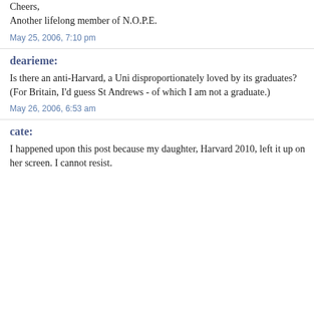Cheers,
Another lifelong member of N.O.P.E.
May 25, 2006, 7:10 pm
dearieme:
Is there an anti-Harvard, a Uni disproportionately loved by its graduates?
(For Britain, I'd guess St Andrews - of which I am not a graduate.)
May 26, 2006, 6:53 am
cate:
I happened upon this post because my daughter, Harvard 2010, left it up on her screen. I cannot resist.
April 2014
March 2014
February 2014
January 2014
December 2013
November 2013
October 2013
September 2013
August 2013
July 2013
June 2013
May 2013
April 2013
March 2013
February 2013
January 2013
December 2012
November 2012
October 2012
September 2012
August 2012